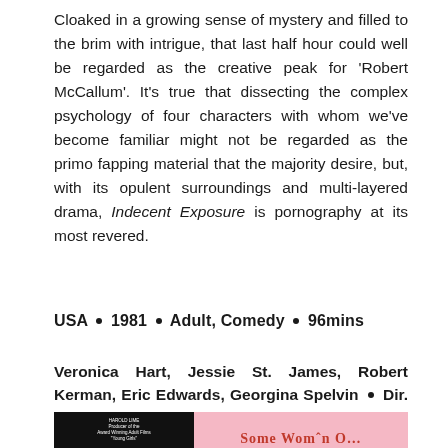Cloaked in a growing sense of mystery and filled to the brim with intrigue, that last half hour could well be regarded as the creative peak for 'Robert McCallum'. It's true that dissecting the complex psychology of four characters with whom we've become familiar might not be regarded as the primo fapping material that the majority desire, but, with its opulent surroundings and multi-layered drama, Indecent Exposure is pornography at its most revered.
USA • 1981 • Adult, Comedy • 96mins
Veronica Hart, Jessie St. James, Robert Kerman, Eric Edwards, Georgina Spelvin • Dir. Gary Graver (as Robert McCallum) • Wri. C.W O'Hara
[Figure (photo): Partial view of a movie cover/poster. Left portion shows a black background with small white text referencing Harold Lime and award-winning adult films. Right portion shows a pink background with partial text in red/dark letters.]